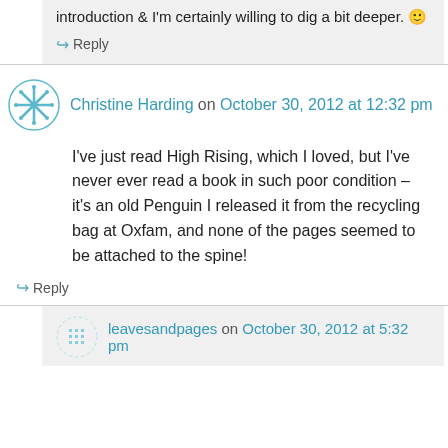introduction & I'm certainly willing to dig a bit deeper. 🙂
↪ Reply
Christine Harding on October 30, 2012 at 12:32 pm
I've just read High Rising, which I loved, but I've never ever read a book in such poor condition – it's an old Penguin I released it from the recycling bag at Oxfam, and none of the pages seemed to be attached to the spine!
↪ Reply
leavesandpages on October 30, 2012 at 5:32 pm